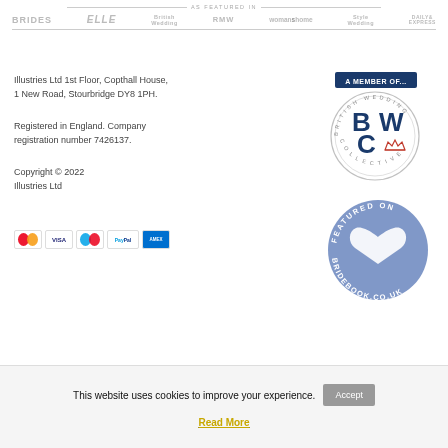AS FEATURED IN — BRIDES • ELLE • Wedding • RMW • womanshome • Wedding • DAILY EXPRESS
Illustries Ltd 1st Floor, Copthall House, 1 New Road, Stourbridge DY8 1PH.
Registered in England. Company registration number 7426137.
Copyright © 2022 Illustries Ltd
[Figure (logo): Payment icons: Mastercard, Visa, Maestro, PayPal, American Express]
[Figure (logo): British Wedding Collective (BWC) member badge — circular stamp with text 'A MEMBER OF... BRITISH WEDDING COLLECTIVE' and BWC initials with crown]
[Figure (logo): Featured on Bridebook.co.uk badge — blue circle with heart logo and text FEATURED ON BRIDEBOOK.CO.UK]
This website uses cookies to improve your experience.
Read More